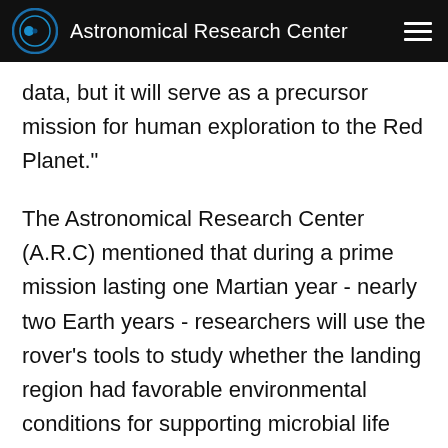Astronomical Research Center
data, but it will serve as a precursor mission for human exploration to the Red Planet."
The Astronomical Research Center (A.R.C) mentioned that during a prime mission lasting one Martian year - nearly two Earth years - researchers will use the rover's tools to study whether the landing region had favorable environmental conditions for supporting microbial life and for preserving clues about whether life ever existed.